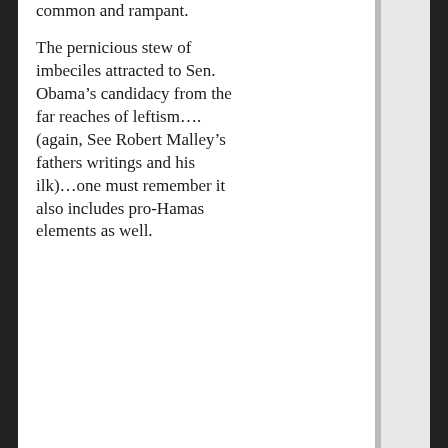common and rampant.
The pernicious stew of imbeciles attracted to Sen. Obama’s candidacy from the far reaches of leftism….(again, See Robert Malley’s fathers writings and his ilk)…one must remember it also includes pro-Hamas elements as well.